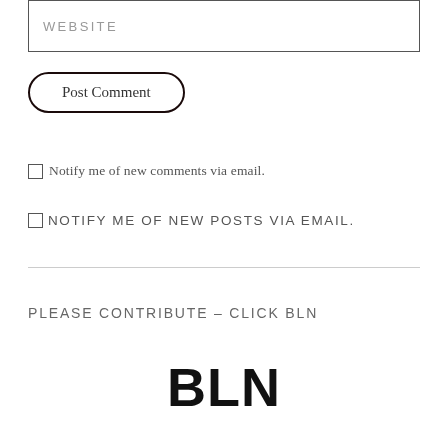WEBSITE
Post Comment
Notify me of new comments via email.
NOTIFY ME OF NEW POSTS VIA EMAIL.
PLEASE CONTRIBUTE – CLICK BLN
BLN